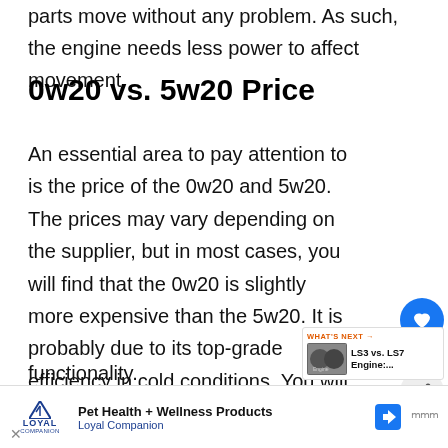parts move without any problem. As such, the engine needs less power to affect movement.
0w20 vs. 5w20 Price
An essential area to pay attention to is the price of the 0w20 and 5w20. The prices may vary depending on the supplier, but in most cases, you will find that the 0w20 is slightly more expensive than the 5w20. It is probably due to its top-grade efficiency in cold conditions. You will notice that these two multi-grade engine oils are more expensive than most mono-grade types. Despite having a hefty price, the best value for your spending, which you will see in functionality.
[Figure (other): UI overlay with heart/like button showing count 73, and share button]
[Figure (other): What's Next promo showing LS3 vs. LS7 Engine article thumbnail]
[Figure (other): Advertisement banner for Pet Health + Wellness Products by Loyal Companion]